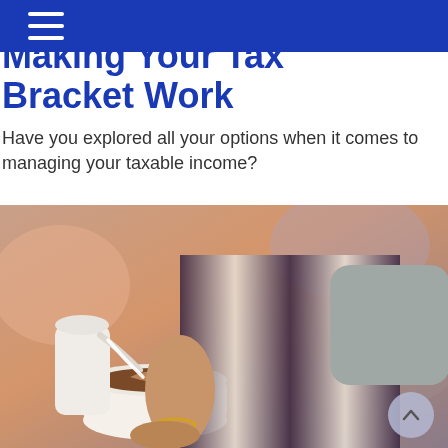Making Your Tax Bracket Work
Have you explored all your options when it comes to managing your taxable income?
[Figure (photo): A barista in a striped apron pouring steamed milk into a latte art coffee cup, close-up shot with warm bokeh background.]